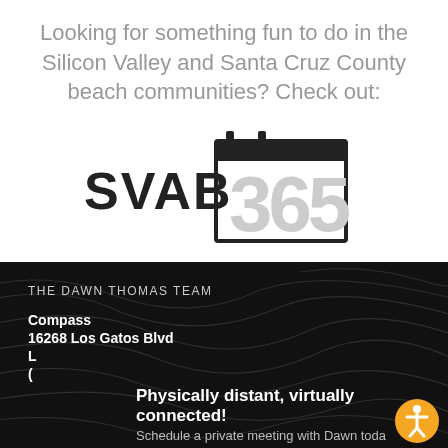Looking for something fun to do in the Silicon Valley and Santa Cruz County beach communities? Check out:
[Figure (logo): SVAB 365 logo — bold text 'SVAB' beside a calendar icon showing '365']
THE DAWN THOMAS TEAM
Compass
16268 Los Gatos Blvd
L
Physically distant, virtually connected!
Schedule a private meeting with Dawn toda